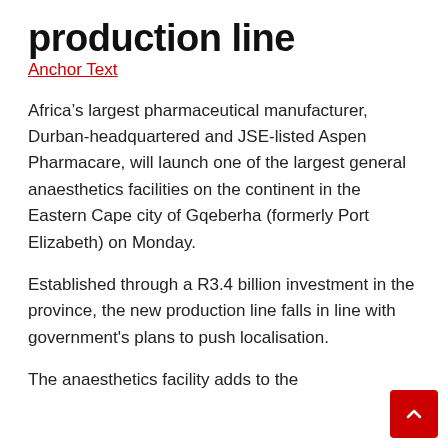production line
Anchor Text
Africa’s largest pharmaceutical manufacturer, Durban-headquartered and JSE-listed Aspen Pharmacare, will launch one of the largest general anaesthetics facilities on the continent in the Eastern Cape city of Gqeberha (formerly Port Elizabeth) on Monday.
Established through a R3.4 billion investment in the province, the new production line falls in line with government's plans to push localisation.
The anaesthetics facility adds to the